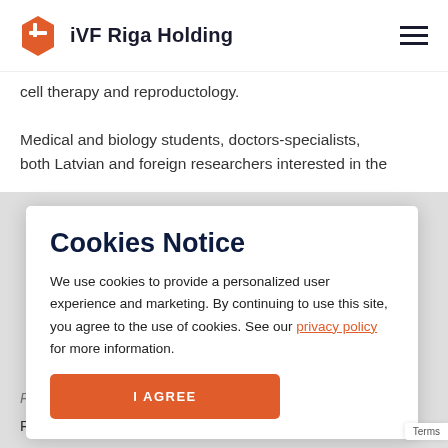iVF Riga Holding
cell therapy and reproductology.
Medical and biology students, doctors-specialists, both Latvian and foreign researchers interested in the
Cookies Notice
We use cookies to provide a personalized user experience and marketing. By continuing to use this site, you agree to the use of cookies. See our privacy policy for more information.
I AGREE
Pediatric Endocrinology, Andrology, Diabetology...
Professor and chairman of Physiology, University of
Terms